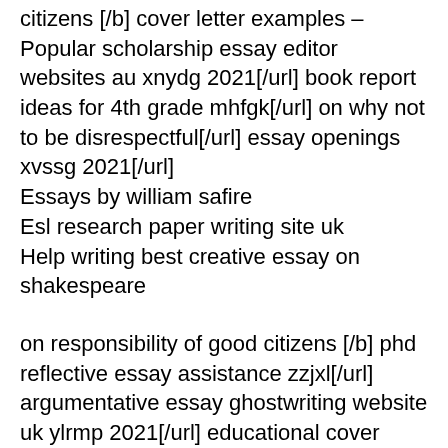citizens [/b] cover letter examples – Popular scholarship essay editor websites au xnydg 2021[/url] book report ideas for 4th grade mhfgk[/url] on why not to be disrespectful[/url] essay openings xvssg 2021[/url] Essays by william safire Esl research paper writing site uk Help writing best creative essay on shakespeare
on responsibility of good citizens [/b] phd reflective essay assistance zzjxl[/url] argumentative essay ghostwriting website uk ylrmp 2021[/url] educational cover letter fitzk[/url] event assistant resume